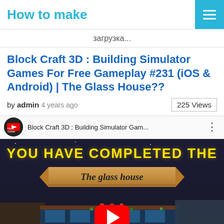How to make
загрузка...
Block Craft 3D : Building Simulator Games For Free Gameplay #231 (iOS & Android) | The Glass House??
by admin 4 years ago  225 Views
[Figure (screenshot): YouTube video embed showing Block Craft 3D : Building Simulator Gam... with game screenshot showing 'YOU HAVE COMPLETED THE' and 'The glass house' banner with play button overlay]